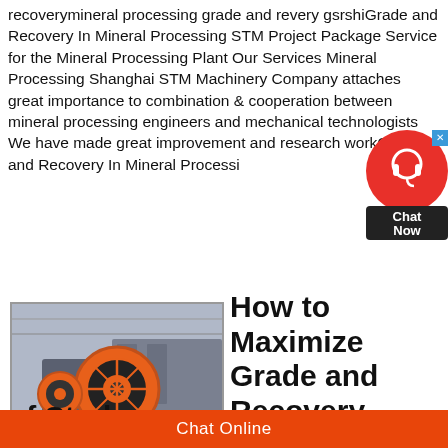recoverymineral processing grade and revery gsrshiGrade and Recovery In Mineral Processing STM Project Package Service for the Mineral Processing Plant Our Services Mineral Processing Shanghai STM Machinery Company attaches great importance to combination & cooperation between mineral processing engineers and mechanical technologists We have made great improvement and research workGrade and Recovery In Mineral Processi
[Figure (photo): Jaw crusher machine with orange flywheel in a factory setting, with MineYi watermark overlay]
How to Maximize Grade and Recovery Curve Case of Study
Chat Online